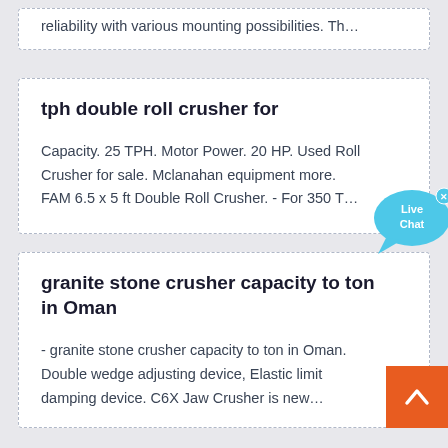reliability with various mounting possibilities. Th…
tph double roll crusher for
Capacity. 25 TPH. Motor Power. 20 HP. Used Roll Crusher for sale. Mclanahan equipment more. FAM 6.5 x 5 ft Double Roll Crusher. - For 350 T…
granite stone crusher capacity to ton in Oman
- granite stone crusher capacity to ton in Oman. Double wedge adjusting device, Elastic limit damping device. C6X Jaw Crusher is new…